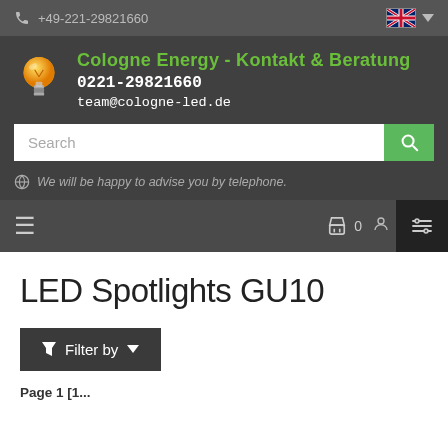+49-221-29821660
Cologne Energy - Kontakt & Beratung
0221-29821660
team@cologne-led.de
Search
We will be happy to advise you by telephone.
LED Spotlights GU10
Filter by
Page 1 [1...